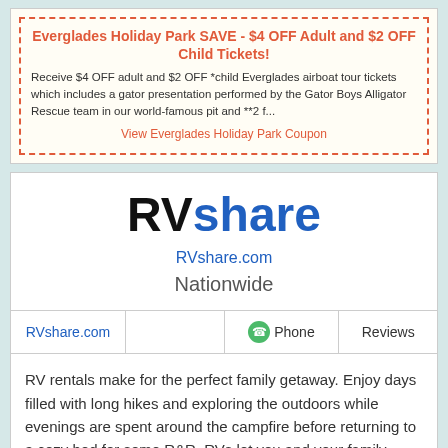Everglades Holiday Park SAVE - $4 OFF Adult and $2 OFF Child Tickets!
Receive $4 OFF adult and $2 OFF *child Everglades airboat tour tickets which includes a gator presentation performed by the Gator Boys Alligator Rescue team in our world-famous pit and **2 f...
View Everglades Holiday Park Coupon
[Figure (logo): RVshare logo with 'RV' in black bold and 'share' in blue bold]
RVshare.com
Nationwide
| RVshare.com |  | Phone | Reviews |
| --- | --- | --- | --- |
RV rentals make for the perfect family getaway. Enjoy days filled with long hikes and exploring the outdoors while evenings are spent around the campfire before returning to a cozy bed for some R&R. RVs let you and your family travel comfortably, and park up close to your favorite places. Whether you want to visit a national park, a certain attraction,